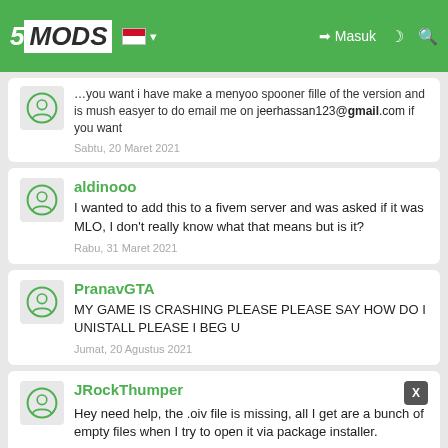5MODS navigation bar with Masuk button
jeerhassan123@gmail.com if you want
Sabtu, 20 Maret 2021
aldinooo
I wanted to add this to a fivem server and was asked if it was MLO, I don't really know what that means but is it?
Rabu, 31 Maret 2021
PranavGTA
MY GAME IS CRASHING PLEASE PLEASE SAY HOW DO I UNISTALL PLEASE I BEG U
Jumat, 20 Agustus 2021
JRockThumper
Hey need help, the .oiv file is missing, all I get are a bunch of empty files when I try to open it via package installer.